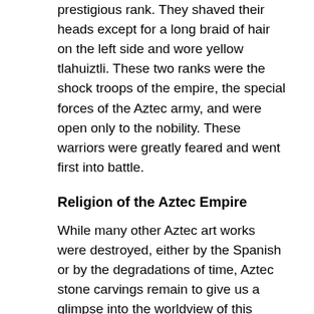prestigious rank. They shaved their heads except for a long braid of hair on the left side and wore yellow tlahuiztli. These two ranks were the shock troops of the empire, the special forces of the Aztec army, and were open only to the nobility. These warriors were greatly feared and went first into battle.
Religion of the Aztec Empire
While many other Aztec art works were destroyed, either by the Spanish or by the degradations of time, Aztec stone carvings remain to give us a glimpse into the worldview of this supreme Mesoamerican culture. These masterpieces were discovered in Mexico City in the buried ruins of the former Aztec capital of Tenochtitlan and its grand pyramid, Templo Mayor.
Statue of Coatlicue
Coatlicue was the Aztec's earth mother goddess,